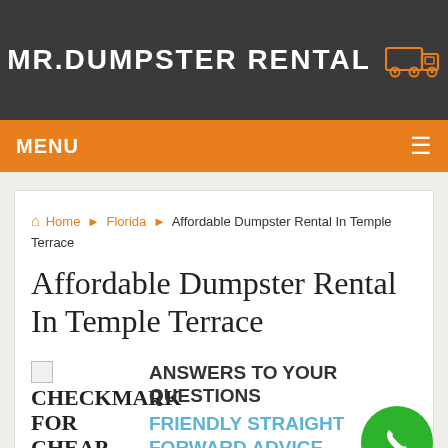MR.DUMPSTER RENTAL
MENU
Home ▶ Florida ▶ Affordable Dumpster Rental In Temple Terrace
Affordable Dumpster Rental In Temple Terrace
CHECKMARK FOR CHEAP
ANSWERS TO YOUR QUESTIONS FRIENDLY STRAIGHT FORWARD ADVICE